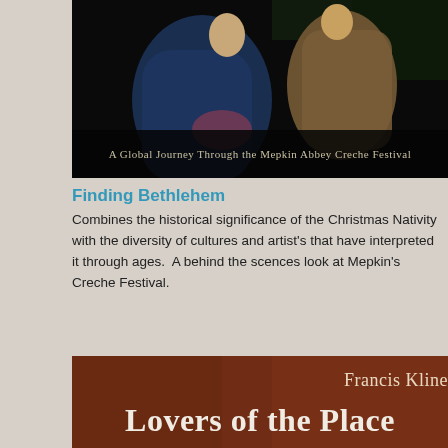[Figure (photo): Dark photograph of nativity/creche figurines with text overlay reading 'A Global Journey Through the Mepkin Abbey Creche Festival']
Finding Bethlehem
Combines the historical significance of the Christmas Nativity with the diversity of cultures and artist's that have interpreted it through ages.  A behind the scences look at Mepkin's Creche Festival.
[Figure (photo): Brown textured book cover with text 'Francis Kline' and 'Lovers of the Place']